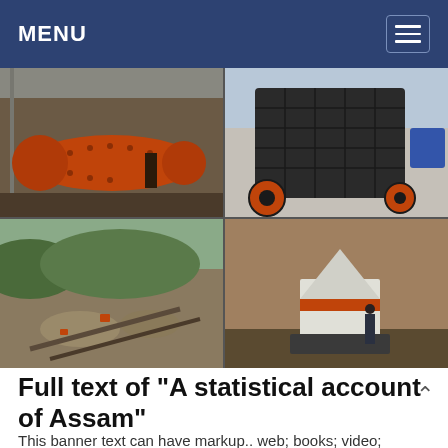MENU
[Figure (photo): Four-photo grid collage of industrial mining and crushing equipment: top-left shows an orange ball mill in a warehouse; top-right shows a large black impact crusher with red wheels; bottom-left shows an aerial view of an open-pit mining/crushing operation with conveyors and piles; bottom-right shows a cone crusher installed in a pit with a worker standing beside it.]
Full text of "A statistical account of Assam"
This banner text can have markup.. web; books; video;